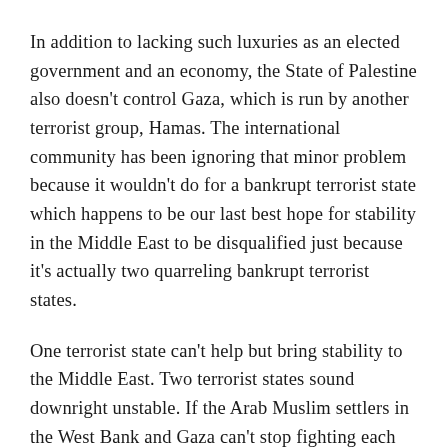In addition to lacking such luxuries as an elected government and an economy, the State of Palestine also doesn't control Gaza, which is run by another terrorist group, Hamas. The international community has been ignoring that minor problem because it wouldn't do for a bankrupt terrorist state which happens to be our last best hope for stability in the Middle East to be disqualified just because it's actually two quarreling bankrupt terrorist states.
One terrorist state can't help but bring stability to the Middle East. Two terrorist states sound downright unstable. If the Arab Muslim settlers in the West Bank and Gaza can't stop fighting each other long enough to peacefully unite under the banner of one anti-Israel terrorist group, all hope for peace is lost.